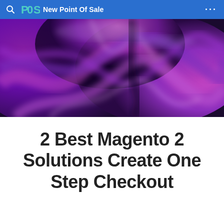New Point Of Sale
[Figure (photo): Abstract purple and magenta swirled paint or fluid art texture with dark and light purple tones]
2 Best Magento 2 Solutions Create One Step Checkout